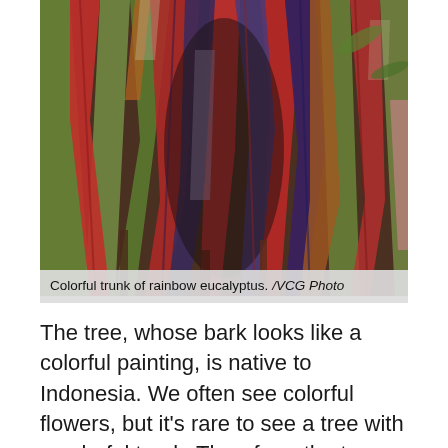[Figure (photo): Close-up photograph of the colorful trunk of a rainbow eucalyptus tree, showing streaks of red, green, purple, and orange bark]
Colorful trunk of rainbow eucalyptus. /VCG Photo
The tree, whose bark looks like a colorful painting, is native to Indonesia. We often see colorful flowers, but it's rare to see a tree with a colorful trunk. Therefore, the tree, which is often referred to as a "living work of art," is planted for its ornamental value and other benefits.